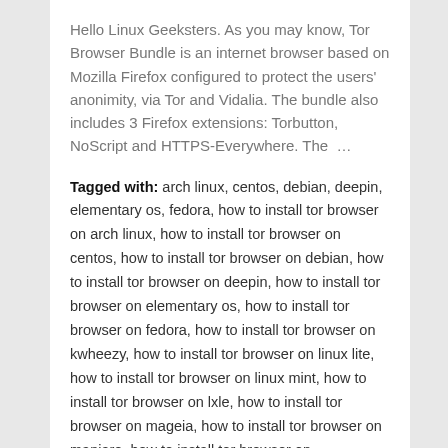Hello Linux Geeksters. As you may know, Tor Browser Bundle is an internet browser based on Mozilla Firefox configured to protect the users' anonimity, via Tor and Vidalia. The bundle also includes 3 Firefox extensions: Torbutton, NoScript and HTTPS-Everywhere. The …
Tagged with: arch linux, centos, debian, deepin, elementary os, fedora, how to install tor browser on arch linux, how to install tor browser on centos, how to install tor browser on debian, how to install tor browser on deepin, how to install tor browser on elementary os, how to install tor browser on fedora, how to install tor browser on kwheezy, how to install tor browser on linux lite, how to install tor browser on linux mint, how to install tor browser on lxle, how to install tor browser on mageia, how to install tor browser on manjaro, how to install tor browser on openmandriva, how to install tor browser on opensuse, how to install tor browser on peppermint, how to install tor browser on pinguy os, how to install tor browser on sparkylinux, how to install tor browser on ubuntu, kwheezy, linux lite, linux mint, lxle, mageia, manjaro, openmandriva, opensuse, peppermint, pinguy os, sparkylinux, tor browser, ubuntu